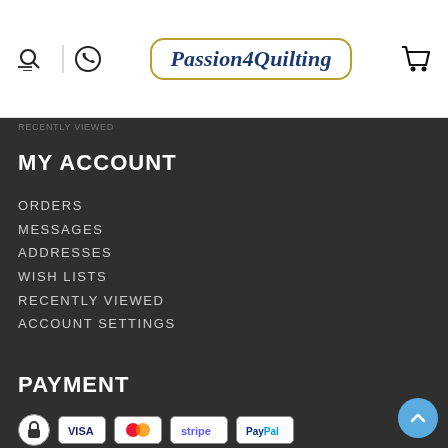[Figure (logo): Passion4Quilting logo with search icon, phone icon, and shopping cart icon in header]
MY ACCOUNT
ORDERS
MESSAGES
ADDRESSES
WISH LISTS
RECENTLY VIEWED
ACCOUNT SETTINGS
PAYMENT
[Figure (illustration): Payment icons: lock, VISA, Mastercard, Stripe, PayPal]